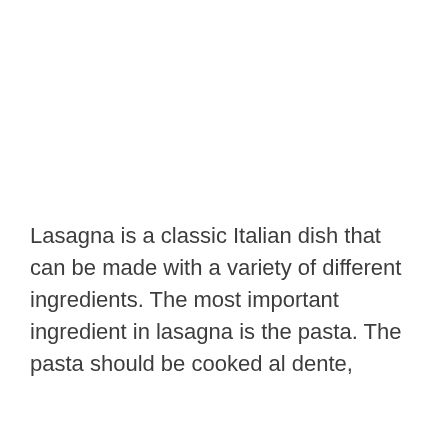Lasagna is a classic Italian dish that can be made with a variety of different ingredients. The most important ingredient in lasagna is the pasta. The pasta should be cooked al dente,